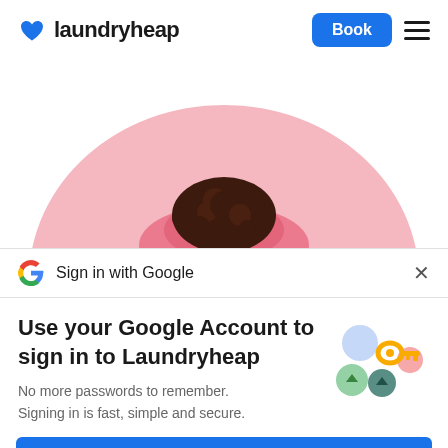[Figure (logo): Laundryheap logo with blue heart icon and text 'laundryheap', plus 'Book' button and hamburger menu on the right]
[Figure (photo): Pink circular background with a person's curly dark hair visible from above, and pink fabric/clothing]
Sign in with Google
Use your Google Account to sign in to Laundryheap
No more passwords to remember. Signing in is fast, simple and secure.
[Figure (illustration): Google key illustration with colorful circles and a golden key]
Continue